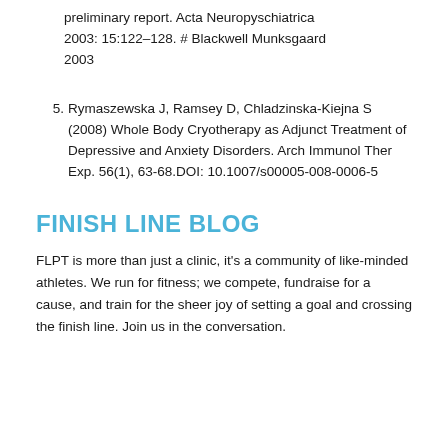preliminary report. Acta Neuropyschiatrica 2003: 15:122–128. # Blackwell Munksgaard 2003
5. Rymaszewska J, Ramsey D, Chladzinska-Kiejna S (2008) Whole Body Cryotherapy as Adjunct Treatment of Depressive and Anxiety Disorders. Arch Immunol Ther Exp. 56(1), 63-68.DOI: 10.1007/s00005-008-0006-5
FINISH LINE BLOG
FLPT is more than just a clinic, it's a community of like-minded athletes. We run for fitness; we compete, fundraise for a cause, and train for the sheer joy of setting a goal and crossing the finish line. Join us in the conversation.